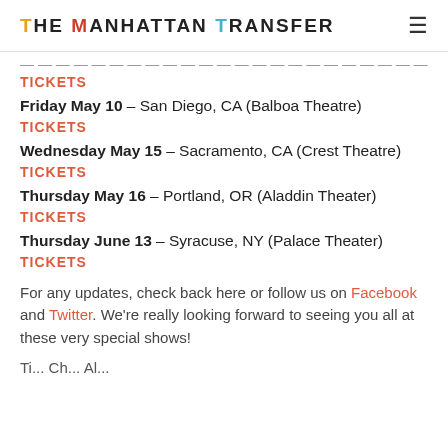THE MANHATTAN TRANSFER
[partial event line cut off at top]
TICKETS
Friday May 10 – San Diego, CA (Balboa Theatre)
TICKETS
Wednesday May 15 – Sacramento, CA (Crest Theatre)
TICKETS
Thursday May 16 – Portland, OR (Aladdin Theater)
TICKETS
Thursday June 13 – Syracuse, NY (Palace Theater)
TICKETS
For any updates, check back here or follow us on Facebook and Twitter. We're really looking forward to seeing you all at these very special shows!
Ti... Ch... Al... [partial line]